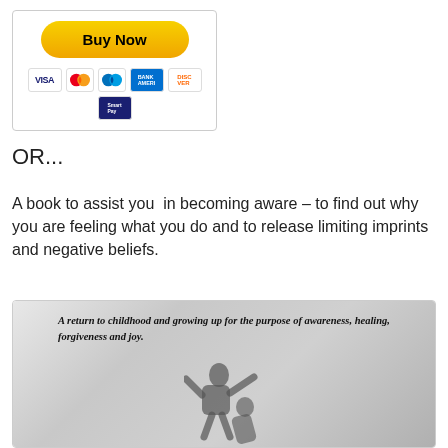[Figure (other): PayPal Buy Now button with payment card icons (Visa, Mastercard, Mastercard, American Express, Discover, Smart) inside a bordered box]
OR...
A book to assist you  in becoming aware – to find out why you are feeling what you do and to release limiting imprints and negative beliefs.
[Figure (photo): Book cover image showing a silhouette of a child being lifted up against a cloudy sky background, with italic text reading: A return to childhood and growing up for the purpose of awareness, healing, forgiveness and joy.]